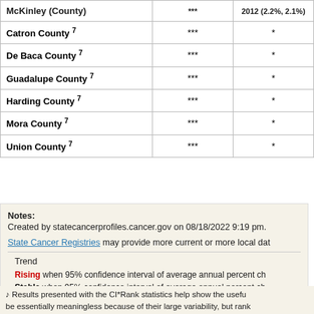| County |  |  |
| --- | --- | --- |
| Catron County 7 | *** | * |
| De Baca County 7 | *** | * |
| Guadalupe County 7 | *** | * |
| Harding County 7 | *** | * |
| Mora County 7 | *** | * |
| Union County 7 | *** | * |
Notes:
Created by statecancerprofiles.cancer.gov on 08/18/2022 9:19 pm.
State Cancer Registries may provide more current or more local dat
Trend
Rising when 95% confidence interval of average annual percent ch
Stable when 95% confidence interval of average annual percent ch
Falling when 95% confidence interval of average annual percent ch
Results presented with the CI*Rank statistics help show the usefu be essentially meaningless because of their large variability, but rank information about methodology can be found on the CI*Rank websi